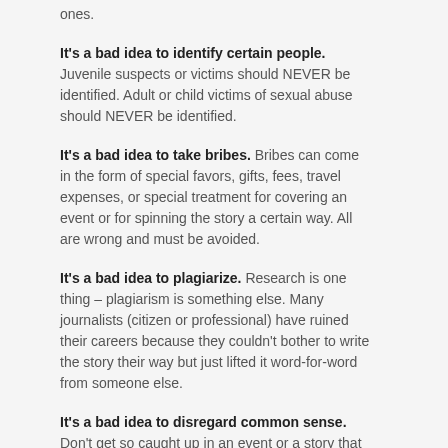ones.
It's a bad idea to identify certain people. Juvenile suspects or victims should NEVER be identified. Adult or child victims of sexual abuse should NEVER be identified.
It's a bad idea to take bribes. Bribes can come in the form of special favors, gifts, fees, travel expenses, or special treatment for covering an event or for spinning the story a certain way. All are wrong and must be avoided.
It's a bad idea to plagiarize. Research is one thing – plagiarism is something else. Many journalists (citizen or professional) have ruined their careers because they couldn't bother to write the story their way but just lifted it word-for-word from someone else.
It's a bad idea to disregard common sense. Don't get so caught up in an event or a story that you lose a sense of right or